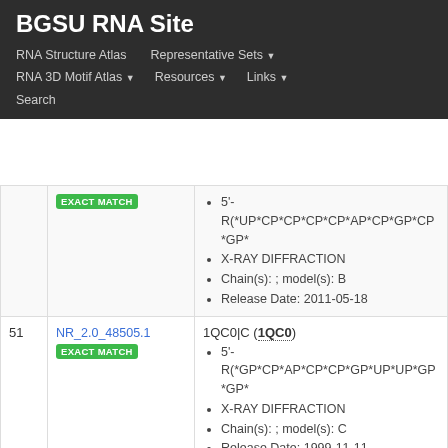BGSU RNA Site
RNA Structure Atlas | Representative Sets ▾ | RNA 3D Motif Atlas ▾ | Resources ▾ | Links ▾ | Search
| # | ID | Info |
| --- | --- | --- |
|  | NR_2.0_48505.1 EXACT MATCH | 1QC0|C (1QC0)
• 5'-R(*GP*CP*AP*CP*CP*GP*UP*UP*GP*GP*...
• X-RAY DIFFRACTION
• Chain(s): ; model(s): C
• Release Date: 1999-11-11 |
| 51 | NR_2.0_48505.1 EXACT MATCH | 1QC0|C (1QC0)
• 5'-R(*GP*CP*AP*CP*CP*GP*UP*UP*GP*GP*...
• X-RAY DIFFRACTION
• Chain(s): ; model(s): C
• Release Date: 1999-11-11 |
| 52 | NR_2.0_55102.1 EXACT MATCH | 1DFU|M (1DFU)
• 5S RRNA |